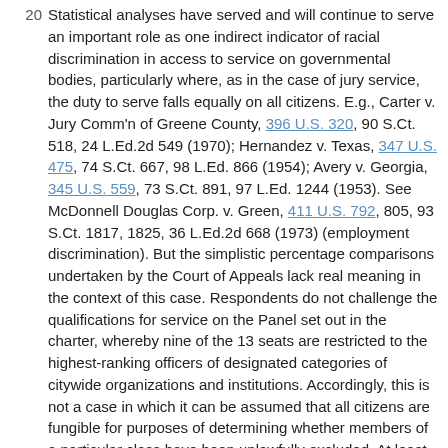Statistical analyses have served and will continue to serve an important role as one indirect indicator of racial discrimination in access to service on governmental bodies, particularly where, as in the case of jury service, the duty to serve falls equally on all citizens. E.g., Carter v. Jury Comm'n of Greene County, 396 U.S. 320, 90 S.Ct. 518, 24 L.Ed.2d 549 (1970); Hernandez v. Texas, 347 U.S. 475, 74 S.Ct. 667, 98 L.Ed. 866 (1954); Avery v. Georgia, 345 U.S. 559, 73 S.Ct. 891, 97 L.Ed. 1244 (1953). See McDonnell Douglas Corp. v. Green, 411 U.S. 792, 805, 93 S.Ct. 1817, 1825, 36 L.Ed.2d 668 (1973) (employment discrimination). But the simplistic percentage comparisons undertaken by the Court of Appeals lack real meaning in the context of this case. Respondents do not challenge the qualifications for service on the Panel set out in the charter, whereby nine of the 13 seats are restricted to the highest-ranking officers of designated categories of citywide organizations and institutions. Accordingly, this is not a case in which it can be assumed that all citizens are fungible for purposes of determining whether members of a particular class have been unlawfully excluded. At least with regard to nine seats on the Panel and assuming, arguendo, that percentage comparisons are meaningful in a case involving discretionary appointments, the relevant universe for comparison purposes consists of the highest ranking officers of the categories of organizations and institutions